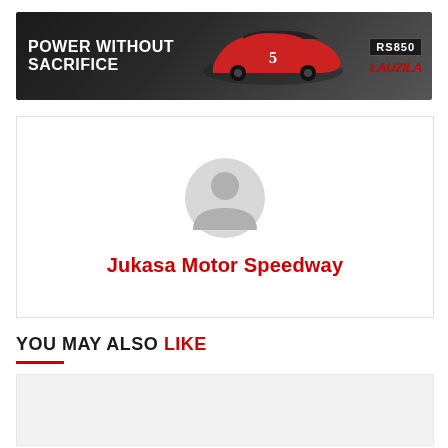[Figure (photo): Advertising banner with text 'POWER WITHOUT SACRIFICE', a NASCAR race car with number 5, and a logo/product on the right side]
[Figure (illustration): Generic user profile avatar icon in gray, circular silhouette shape]
Jukasa Motor Speedway
YOU MAY ALSO LIKE
[Figure (photo): Content preview image placeholder, light gray rectangle]